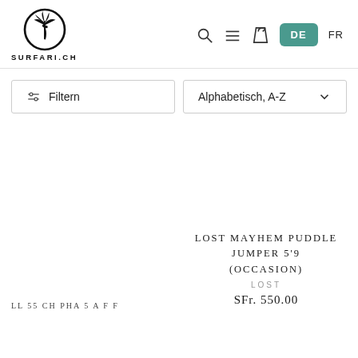[Figure (logo): Surfari.ch logo: palm tree inside a circle with SURFARI.CH text below]
DE  FR
Filtern
Alphabetisch, A-Z
LOST MAYHEM PUDDLE JUMPER 5'9 (OCCASION)
LOST
SFr. 550.00